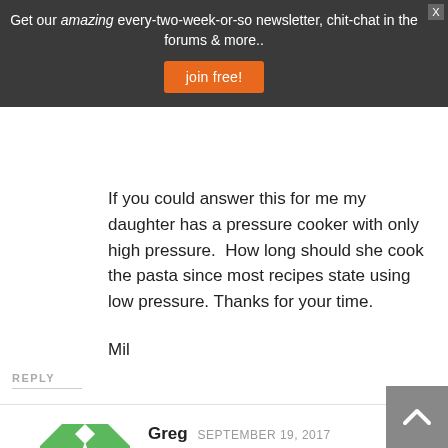Get our amazing every-two-week-or-so newsletter, chit-chat in the forums & more..
If you could answer this for me my daughter has a pressure cooker with only high pressure.  How long should she cook the pasta since most recipes state using low pressure. Thanks for your time.
Mil
REPLY
Greg  SEPTEMBER 19, 2017
From her "Spicy Pressure Cooked Pasta page: